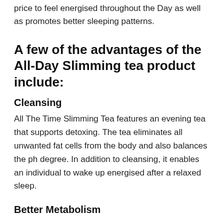The tea helps a customer all day slimming tea price to feel energised throughout the Day as well as promotes better sleeping patterns.
A few of the advantages of the All-Day Slimming tea product include:
Cleansing
All The Time Slimming Tea features an evening tea that supports detoxing. The tea eliminates all unwanted fat cells from the body and also balances the ph degree. In addition to cleansing, it enables an individual to wake up energised after a relaxed sleep.
Better Metabolism